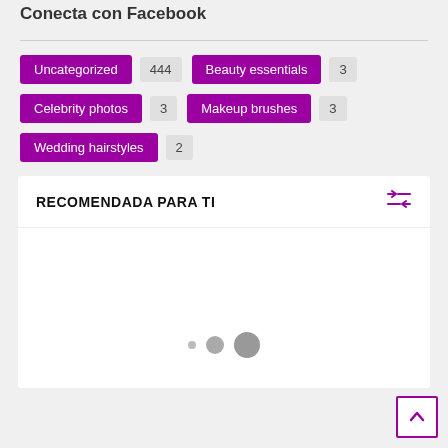Conecta con Facebook
Uncategorized 444
Beauty essentials 3
Celebrity photos 3
Makeup brushes 3
Wedding hairstyles 2
RECOMENDADA PARA TI
[Figure (other): Recommended content carousel with three pagination dots of increasing size]